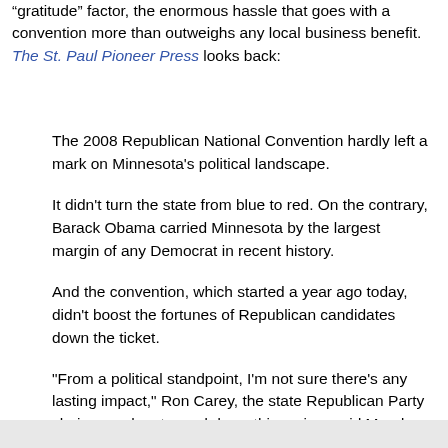"gratitude" factor, the enormous hassle that goes with a convention more than outweighs any local business benefit. The St. Paul Pioneer Press looks back:
The 2008 Republican National Convention hardly left a mark on Minnesota's political landscape.
It didn't turn the state from blue to red. On the contrary, Barack Obama carried Minnesota by the largest margin of any Democrat in recent history.
And the convention, which started a year ago today, didn't boost the fortunes of Republican candidates down the ticket.
"From a political standpoint, I'm not sure there's any lasting impact," Ron Carey, the state Republican Party chairman who stepped down this spring, said Monday.